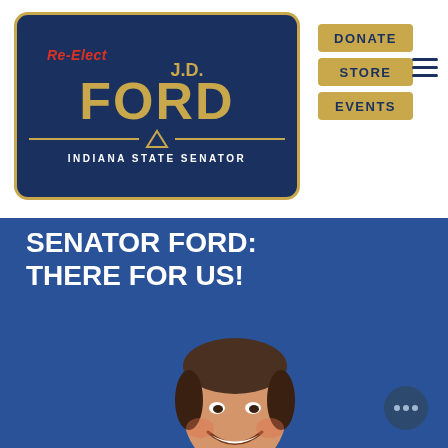[Figure (screenshot): Re-Elect J.D. Ford Indiana State Senator campaign website screenshot showing logo, navigation buttons (DONATE, STORE, EVENTS), hamburger menu, headline 'SENATOR FORD: THERE FOR US!' and a photo of Senator Ford smiling in a suit and tie on a blue background.]
SENATOR FORD: THERE FOR US!